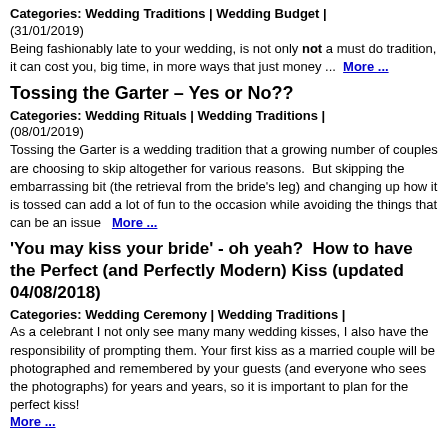Categories: Wedding Traditions | Wedding Budget |
(31/01/2019)
Being fashionably late to your wedding, is not only not a must do tradition, it can cost you, big time, in more ways that just money ...  More ...
Tossing the Garter – Yes or No??
Categories: Wedding Rituals | Wedding Traditions |
(08/01/2019)
Tossing the Garter is a wedding tradition that a growing number of couples are choosing to skip altogether for various reasons.  But skipping the embarrassing bit (the retrieval from the bride's leg) and changing up how it is tossed can add a lot of fun to the occasion while avoiding the things that can be an issue   More ...
'You may kiss your bride' - oh yeah?  How to have the Perfect (and Perfectly Modern) Kiss (updated 04/08/2018)
Categories: Wedding Ceremony | Wedding Traditions |
As a celebrant I not only see many many wedding kisses, I also have the responsibility of prompting them. Your first kiss as a married couple will be photographed and remembered by your guests (and everyone who sees the photographs) for years and years, so it is important to plan for the perfect kiss!
More ...